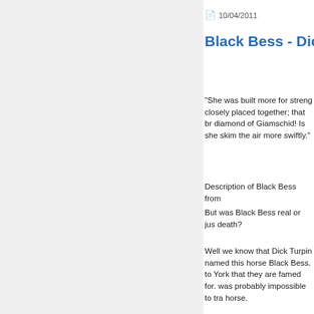10/04/2011
Black Bess - Dick
"She was built more for strength closely placed together; that br diamond of Giamschid! Is she skim the air more swiftly."
Description of Black Bess from
But was Black Bess real or jus death?
Well we know that Dick Turpin named this horse Black Bess. to York that they are famed for. was probably impossible to tra horse.
Posted at 10:16 PM | Permalink | Technorati Tags: black bess, dick Reblog (0)
Not